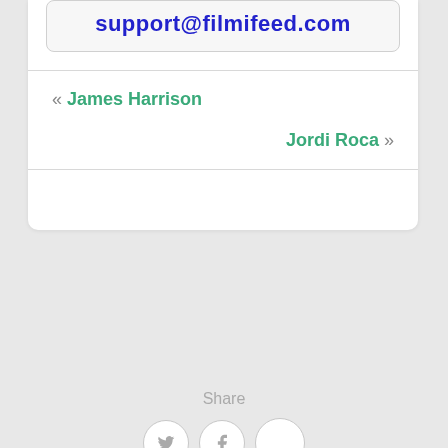support@filmifeed.com
« James Harrison
Jordi Roca »
Share
[Figure (other): Three circular social share buttons: Twitter (bird icon), Facebook (f icon), and a third empty/blank circle]